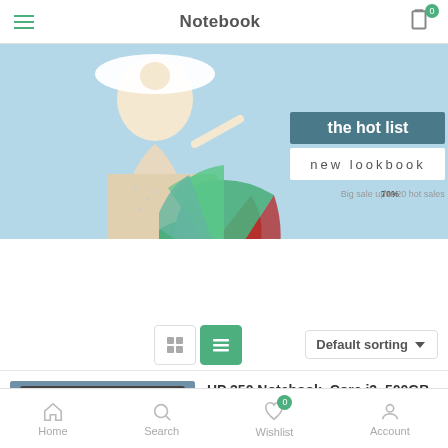Notebook
[Figure (screenshot): Mobile app banner showing a woman in white hat with 'the hot list new lookbook' text, sale up to 70% for 20 hot sales]
[Figure (pie-chart): Partial pie chart overlay with green, blue, red, and light green segments]
[Figure (photo): WhatsApp green icon with phone receiver]
Default sorting
[Figure (screenshot): HP 350 Notebook laptop product photo with SAVE 6% badge]
HP 350 Notebook, Core i3, 500GB HDD, 4GB RAM
(0)
₦80,000.00  ₦85,000.00
Home  Search  Wishlist  Account